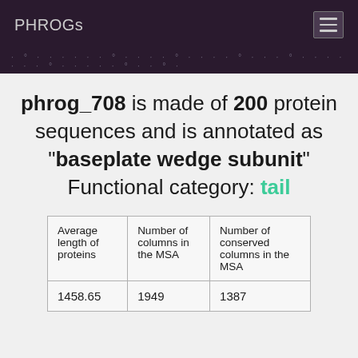PHROGs
phrog_708 is made of 200 protein sequences and is annotated as "baseplate wedge subunit" Functional category: tail
| Average length of proteins | Number of columns in the MSA | Number of conserved columns in the MSA |
| --- | --- | --- |
| 1458.65 | 1949 | 1387 |